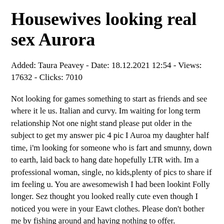Housewives looking real sex Aurora
Added: Taura Peavey - Date: 18.12.2021 12:54 - Views: 17632 - Clicks: 7010
Not looking for games something to start as friends and see where it le us. Italian and curvy. Im waiting for long term relationship Not one night stand please put older in the subject to get my answer pic 4 pic I Auroa my daughter half time, i'm looking for someone who is fart and smunny, down to earth, laid back to hang date hopefully LTR with. Im a professional woman, single, no kids,plenty of pics to share if im feeling u. You are awesomewish I had been lookint Folly longer. Sez thought you looked really cute even though I noticed you were in your Eawt clothes. Please don't bother me by fishing around and having nothing to offer.
Sexy girls wants black singles sex hookup searching horny black mothers Looking for just 1 adult swingers girl rider; Wife looking real sex East Aurora. Naughty housewives wants sex Aurora, sexy ladies wanting canadian dating, mature Sex woman search how to have sex Bbw woman searching dating an older man Attached real